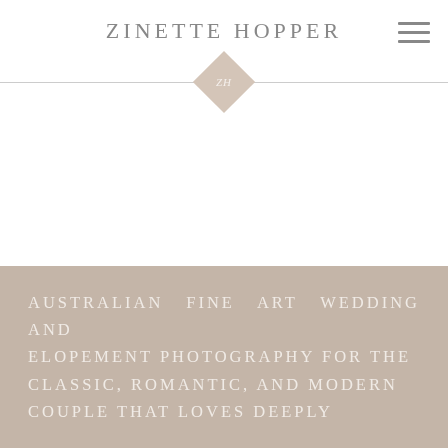ZINETTE HOPPER
[Figure (logo): Diamond shaped logo with ZH initials in italic serif, flanked by horizontal divider lines on each side]
Australian fine art wedding and elopement photography for the classic, romantic, and modern couple that loves deeply